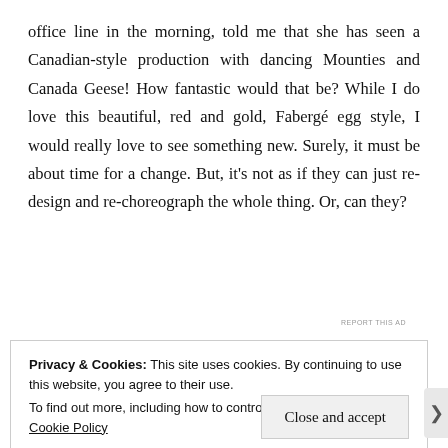office line in the morning, told me that she has seen a Canadian-style production with dancing Mounties and Canada Geese! How fantastic would that be? While I do love this beautiful, red and gold, Fabergé egg style, I would really love to see something new. Surely, it must be about time for a change. But, it's not as if they can just re-design and re-choreograph the whole thing. Or, can they?
[Figure (other): Advertisement banner with dark navy background showing 'reads on the go.' text in white italic, 'GET THE APP' label in white caps, and WordPress logo (W) on the right]
Privacy & Cookies: This site uses cookies. By continuing to use this website, you agree to their use.
To find out more, including how to control cookies, see here: Cookie Policy